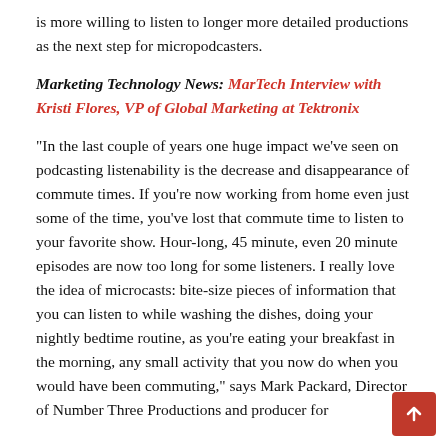is more willing to listen to longer more detailed productions as the next step for micropodcasters.
Marketing Technology News: MarTech Interview with Kristi Flores, VP of Global Marketing at Tektronix
“In the last couple of years one huge impact we’ve seen on podcasting listenability is the decrease and disappearance of commute times. If you’re now working from home even just some of the time, you’ve lost that commute time to listen to your favorite show. Hour-long, 45 minute, even 20 minute episodes are now too long for some listeners. I really love the idea of microcasts: bite-size pieces of information that you can listen to while washing the dishes, doing your nightly bedtime routine, as you’re eating your breakfast in the morning, any small activity that you now do when you would have been commuting,” says Mark Packard, Director of Number Three Productions and producer for